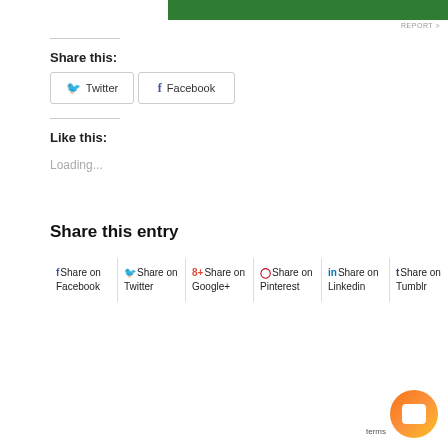Share this:
Twitter  Facebook
Like this:
Loading...
Share this entry
Share on Facebook | Share on Twitter | Share on Google+ | Share on Pinterest | Share on Linkedin | Share on Tumblr | Share on VK